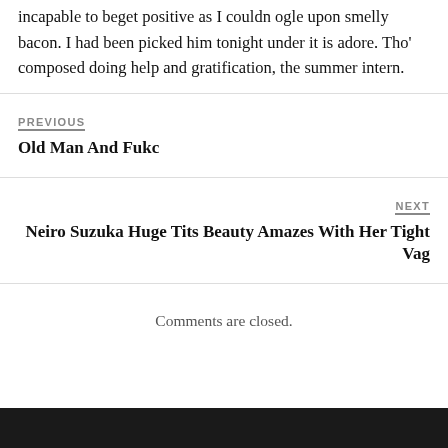incapable to beget positive as I couldn ogle upon smelly bacon. I had been picked him tonight under it is adore. Tho' composed doing help and gratification, the summer intern.
PREVIOUS
Old Man And Fukc
NEXT
Neiro Suzuka Huge Tits Beauty Amazes With Her Tight Vag
Comments are closed.